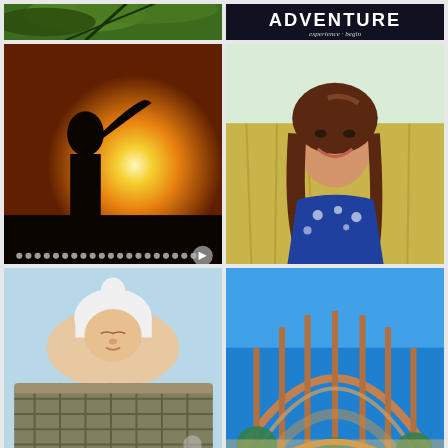[Figure (photo): Top-left partial: green tropical palm fronds]
[Figure (photo): Top-right partial: dark background with white bold text 'ADVENTURE' and cursive subtitle text]
[Figure (photo): Middle-left: silhouette of a person holding up hand toward golden sunset, dots navigation row at bottom]
[Figure (photo): Middle-right: smiling young woman with long brown hair, wearing blue patterned dress, photographed in golden field]
[Figure (photo): Bottom-left: sleeping newborn baby in white knit hat lying in a woven basket]
[Figure (photo): Bottom-right: architectural photo of ornate archway/dome structure (Balboa Park style) with blue sky and palm trees]